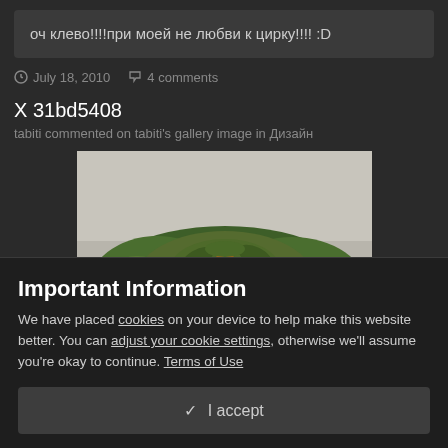оч клево!!!!при моей не любви к цирку!!!! :D
July 18, 2010   4 comments
X 31bd5408
tabiti commented on tabiti's gallery image in Дизайн
[Figure (photo): Painting of orange citrus fruits with green leaves arranged in a decorative bunch against a light grey background]
Important Information
We have placed cookies on your device to help make this website better. You can adjust your cookie settings, otherwise we'll assume you're okay to continue. Terms of Use
✓ I accept